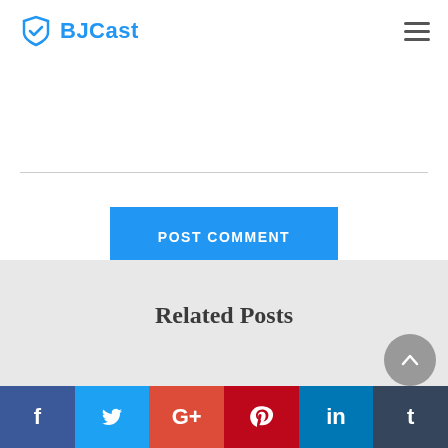BJCast
POST COMMENT
Related Posts
f  t  G+  p  in  t